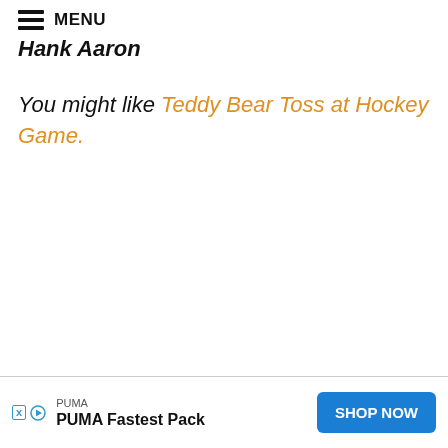MENU
Hank Aaron
You might like Teddy Bear Toss at Hockey Game.
[Figure (other): Advertisement banner: PUMA Fastest Pack with SHOP NOW button]